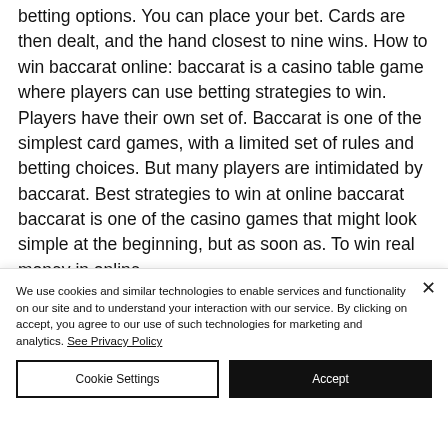betting options. You can place your bet. Cards are then dealt, and the hand closest to nine wins. How to win baccarat online: baccarat is a casino table game where players can use betting strategies to win. Players have their own set of. Baccarat is one of the simplest card games, with a limited set of rules and betting choices. But many players are intimidated by baccarat. Best strategies to win at online baccarat baccarat is one of the casino games that might look simple at the beginning, but as soon as. To win real money in online
We use cookies and similar technologies to enable services and functionality on our site and to understand your interaction with our service. By clicking on accept, you agree to our use of such technologies for marketing and analytics. See Privacy Policy
Cookie Settings
Accept